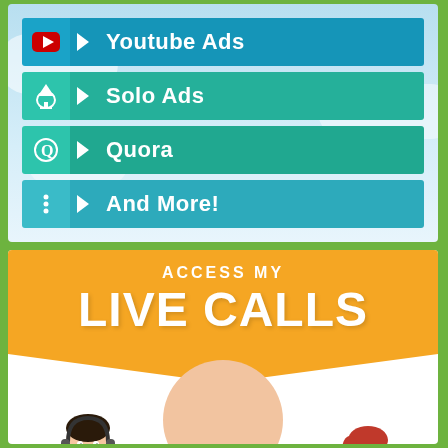Youtube Ads
Solo Ads
Quora
And More!
[Figure (infographic): Orange badge shape with text ACCESS MY LIVE CALLS, two cartoon people characters, decorative elements including stars and plane]